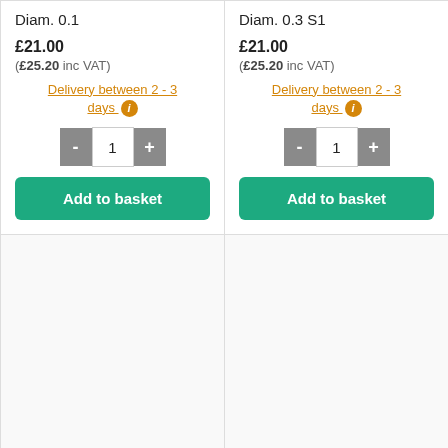Diam. 0.1
£21.00
(£25.20 inc VAT)
Delivery between 2 - 3 days
1
Add to basket
Diam. 0.3 S1
£21.00
(£25.20 inc VAT)
Delivery between 2 - 3 days
1
Add to basket